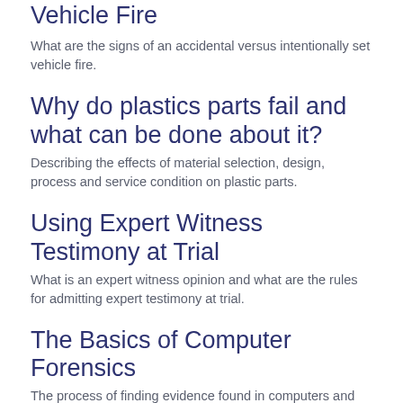Vehicle Fire
What are the signs of an accidental versus intentionally set vehicle fire.
Why do plastics parts fail and what can be done about it?
Describing the effects of material selection, design, process and service condition on plastic parts.
Using Expert Witness Testimony at Trial
What is an expert witness opinion and what are the rules for admitting expert testimony at trial.
The Basics of Computer Forensics
The process of finding evidence found in computers and digital storage media.